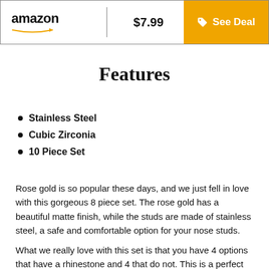[Figure (screenshot): Amazon listing header with logo, price $7.99, and orange See Deal button]
Features
Stainless Steel
Cubic Zirconia
10 Piece Set
Rose gold is so popular these days, and we just fell in love with this gorgeous 8 piece set. The rose gold has a beautiful matte finish, while the studs are made of stainless steel, a safe and comfortable option for your nose studs.
What we really love with this set is that you have 4 options that have a rhinestone and 4 that do not. This is a perfect mixed set